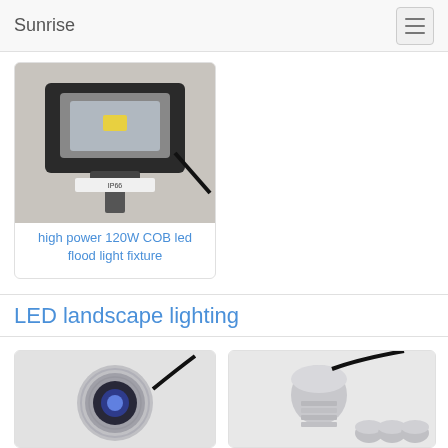Sunrise
[Figure (photo): High power 120W COB LED flood light fixture product photo - black metal housing with reflector]
high power 120W COB led flood light fixture
LED landscape lighting
[Figure (photo): Small round stainless steel LED inground landscape light with blue LED lens and black cable]
[Figure (photo): Dome-shaped stainless steel LED landscape spotlight with ribbed body and black cable, with three smaller units shown below]